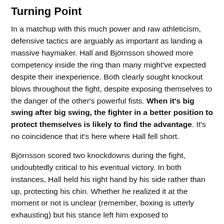Turning Point
In a matchup with this much power and raw athleticism, defensive tactics are arguably as important as landing a massive haymaker. Hall and Björnsson showed more competency inside the ring than many might've expected despite their inexperience. Both clearly sought knockout blows throughout the fight, despite exposing themselves to the danger of the other's powerful fists. When it's big swing after big swing, the fighter in a better position to protect themselves is likely to find the advantage. It's no coincidence that it's here where Hall fell short.
Björnsson scored two knockdowns during the fight, undoubtedly critical to his eventual victory. In both instances, Hall held his right hand by his side rather than up, protecting his chin. Whether he realized it at the moment or not is unclear (remember, boxing is utterly exhausting) but his stance left him exposed to